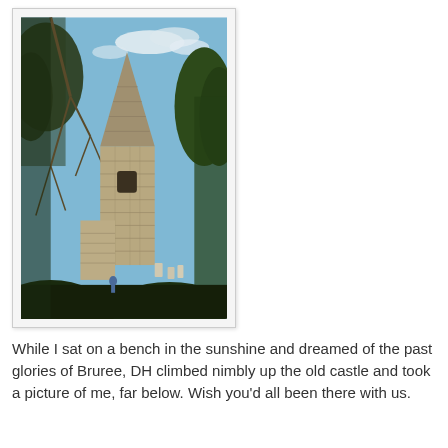[Figure (photo): A stone church tower with a pointed spire, surrounded by bare-branched trees and evergreen shrubs, photographed on a sunny day with blue sky and light clouds. The church appears old with a window opening in the tower.]
While I sat on a bench in the sunshine and dreamed of the past glories of Bruree, DH climbed nimbly up the old castle and took a picture of me, far below. Wish you'd all been there with us.